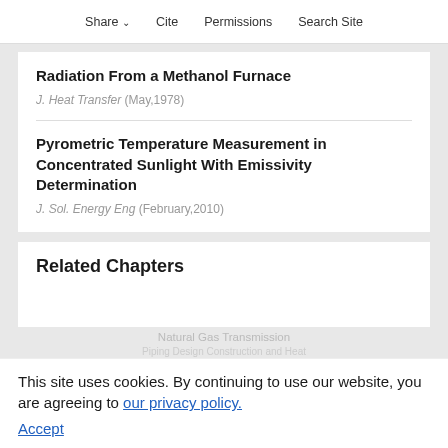Share  Cite  Permissions  Search Site
Radiation From a Methanol Furnace
J. Heat Transfer (May,1978)
Pyrometric Temperature Measurement in Concentrated Sunlight With Emissivity Determination
J. Sol. Energy Eng (February,2010)
Related Chapters
Natural Gas Transmission
This site uses cookies. By continuing to use our website, you are agreeing to our privacy policy. Accept